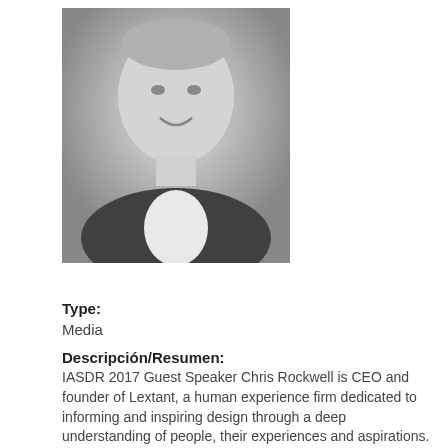[Figure (photo): Black and white headshot of a smiling middle-aged man in a suit and white dress shirt]
Type:
Media
Descripción/Resumen:
IASDR 2017 Guest Speaker Chris Rockwell is CEO and founder of Lextant, a human experience firm dedicated to informing and inspiring design through a deep understanding of people, their experiences and aspirations. For over 20 years, Chris and his team have developed leading techniqu...
Creador/Autor:
Rockwell, Chris
Peticionario:
Lora Alberto
Fecha modificada: